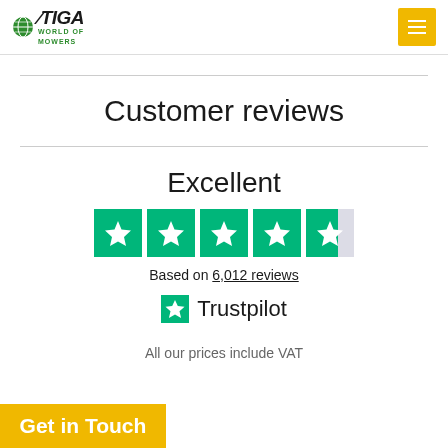[Figure (logo): STIGA World of Mowers logo with globe icon and italic text]
Customer reviews
[Figure (infographic): Trustpilot rating: Excellent, 4.5 stars out of 5, based on 6,012 reviews, with Trustpilot logo]
All our prices include VAT
Get in Touch